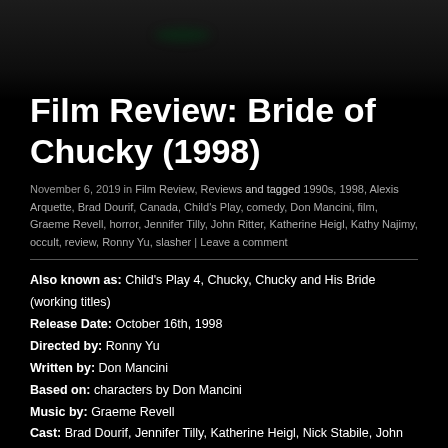[Figure (photo): Dark background image with faint dark greenish teal light near top center, black/dark scene from movie]
Film Review: Bride of Chucky (1998)
November 6, 2019 in Film Review, Reviews and tagged 1990s, 1998, Alexis Arquette, Brad Dourif, Canada, Child's Play, comedy, Don Mancini, film, Graeme Revell, horror, Jennifer Tilly, John Ritter, Katherine Heigl, Kathy Najimy, occult, review, Ronny Yu, slasher | Leave a comment
Also known as: Child's Play 4, Chucky, Chucky and His Bride (working titles)
Release Date: October 16th, 1998
Directed by: Ronny Yu
Written by: Don Mancini
Based on: characters by Don Mancini
Music by: Graeme Revell
Cast: Brad Dourif, Jennifer Tilly, Katherine Heigl, Nick Stabile, John Ritter, Alexis Arquette, Gordon Michael Woolvett, Kathy Najimy